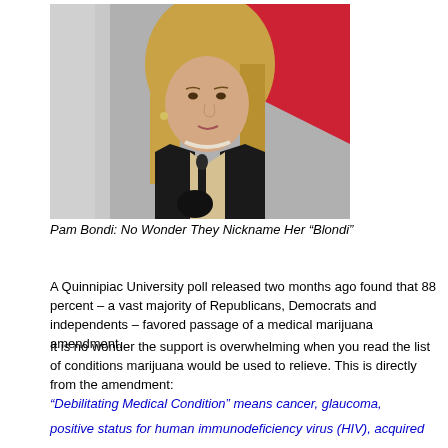[Figure (photo): Photo of Pam Bondi, a blonde woman in a black jacket with pearls, speaking at a podium with a microphone, red and white background]
Pam Bondi: No Wonder They Nickname Her “Blondi”
A Quinnipiac University poll released two months ago found that 88 percent – a vast majority of Republicans, Democrats and independents – favored passage of a medical marijuana amendment.
It is no wonder the support is overwhelming when you read the list of conditions marijuana would be used to relieve. This is directly from the amendment:
“Debilitating Medical Condition” means cancer, glaucoma,
positive status for human immunodeficiency virus (HIV), acquired